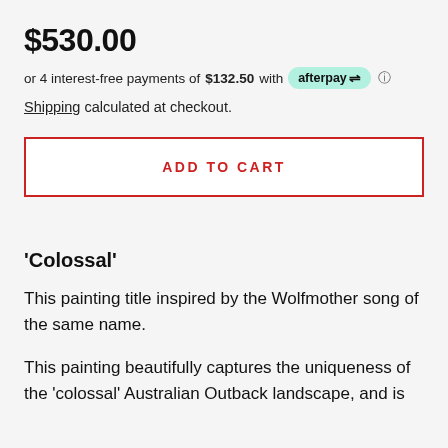$530.00
or 4 interest-free payments of $132.50 with afterpay
Shipping calculated at checkout.
ADD TO CART
'Colossal'
This painting title inspired by the Wolfmother song of the same name.
This painting beautifully captures the uniqueness of the 'colossal' Australian Outback landscape, and is